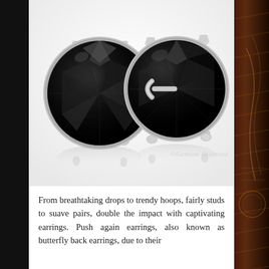[Figure (photo): Two black diamond stud earrings with silver four-prong settings on white background with reflections, watermark '©Gemone Diamond' visible in lower center area]
From breathtaking drops to trendy hoops, fairly studs to suave pairs, double the impact with captivating earrings. Push again earrings, also known as butterfly back earrings, due to their